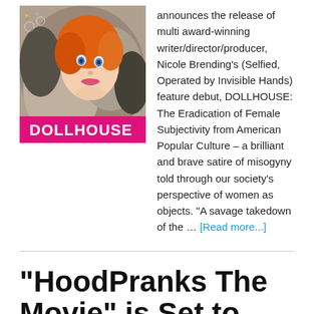[Figure (photo): Movie poster for DOLLHOUSE showing a doll-like face with orange/red hair and the title 'DOLLHOUSE' in pink text at the bottom]
announces the release of multi award-winning writer/director/producer, Nicole Brending's (Selfied, Operated by Invisible Hands) feature debut, DOLLHOUSE: The Eradication of Female Subjectivity from American Popular Culture – a brilliant and brave satire of misogyny told through our society's perspective of women as objects. "A savage takedown of the … [Read more...]
“HoodPranks The Movie” is Set to Premiere April 27, 2020